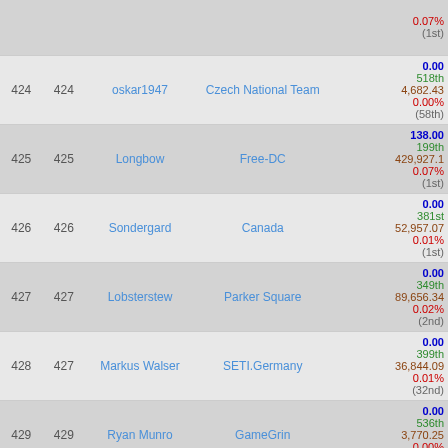| # | # | User | Team | Stats |
| --- | --- | --- | --- | --- |
|  |  |  |  | 0.07%
(1st) |
| 424 | 424 | oskar1947 | Czech National Team | 0.00
518th
4,682.43
0.00%
(58th) |
| 425 | 425 | Longbow | Free-DC | 138.00
199th
429,927.1
0.07%
(1st) |
| 426 | 426 | Sondergard | Canada | 0.00
381st
52,957.07
0.01%
(1st) |
| 427 | 427 | Lobsterstew | Parker Square | 0.00
349th
89,656.34
0.02%
(2nd) |
| 428 | 427 | Markus Walser | SETI.Germany | 0.00
399th
36,844.09
0.01%
(32nd) |
| 429 | 429 | Ryan Munro | GameGrin | 0.00
536th
3,770.25
0.00%
(1st) |